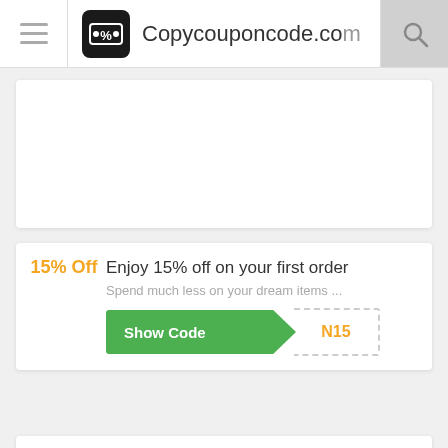Copycouponcode.com
[Figure (screenshot): Blank/ad area card]
Enjoy 15% off on your first order
Spend much less on your dream items ...
Show Code N15
Anti-pollution Sports Mask On Sale Price £11.95
You don't need a mapleystore.co.uk pro...
Show Code C20